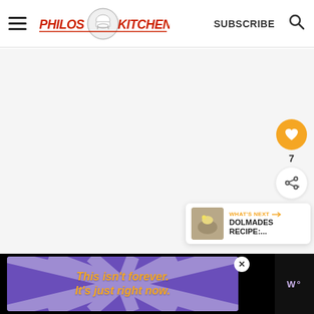Philos Kitchen — SUBSCRIBE
[Figure (screenshot): Main content area of Philos Kitchen website, mostly blank/white content area]
[Figure (infographic): Like button (orange heart), count 7, and share button widget on right side]
7
[Figure (screenshot): What's Next panel showing Dolmades recipe thumbnail with orange label]
WHAT'S NEXT → DOLMADES RECIPE:...
[Figure (screenshot): Advertisement banner: purple background with orange text 'This isn't forever. It's just right now.']